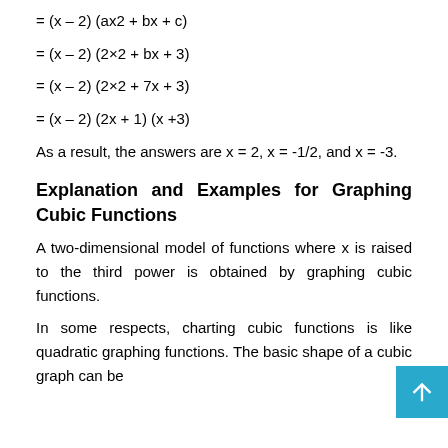As a result, the answers are x = 2, x = -1/2, and x = -3.
Explanation and Examples for Graphing Cubic Functions
A two-dimensional model of functions where x is raised to the third power is obtained by graphing cubic functions.
In some respects, charting cubic functions is like quadratic graphing functions. The basic shape of a cubic graph can be